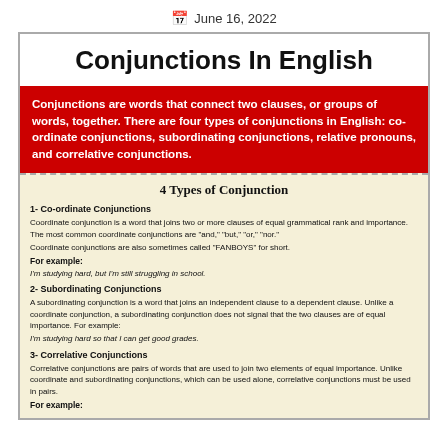June 16, 2022
Conjunctions In English
Conjunctions are words that connect two clauses, or groups of words, together. There are four types of conjunctions in English: co-ordinate conjunctions, subordinating conjunctions, relative pronouns, and correlative conjunctions.
4 Types of Conjunction
1- Co-ordinate Conjunctions
Coordinate conjunction is a word that joins two or more clauses of equal grammatical rank and importance. The most common coordinate conjunctions are "and," "but," "or," "nor."
Coordinate conjunctions are also sometimes called "FANBOYS" for short.
For example:
I'm studying hard, but I'm still struggling in school.
2- Subordinating Conjunctions
A subordinating conjunction is a word that joins an independent clause to a dependent clause. Unlike a coordinate conjunction, a subordinating conjunction does not signal that the two clauses are of equal importance. For example:
I'm studying hard so that I can get good grades.
3- Correlative Conjunctions
Correlative conjunctions are pairs of words that are used to join two elements of equal importance. Unlike coordinate and subordinating conjunctions, which can be used alone, correlative conjunctions must be used in pairs.
For example: